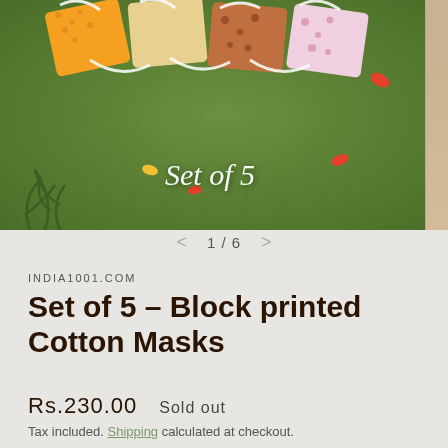[Figure (photo): Photo of colorful block-printed cotton face masks laid on green grass, with white elastic straps visible. Text overlay reads 'Set of 5' in cursive white font.]
1 / 6
INDIA1001.COM
Set of 5 – Block printed Cotton Masks
Rs.230.00   Sold out
Tax included. Shipping calculated at checkout.